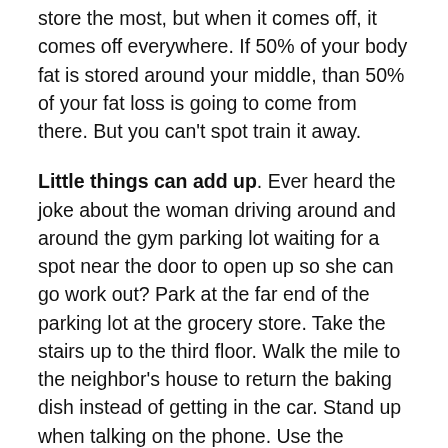store the most, but when it comes off, it comes off everywhere. If 50% of your body fat is stored around your middle, than 50% of your fat loss is going to come from there. But you can't spot train it away.
Little things can add up. Ever heard the joke about the woman driving around and around the gym parking lot waiting for a spot near the door to open up so she can go work out? Park at the far end of the parking lot at the grocery store. Take the stairs up to the third floor. Walk the mile to the neighbor's house to return the baking dish instead of getting in the car. Stand up when talking on the phone. Use the networked copy machine in the other room rather than the one at your desk so you have to get up to get your copies. If you think about how much we must have moved, all day long, up until about 50 years ago, it is